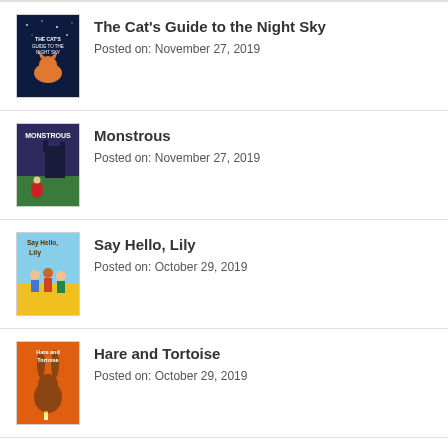The Cat's Guide to the Night Sky
Posted on: November 27, 2019
Monstrous
Posted on: November 27, 2019
Say Hello, Lily
Posted on: October 29, 2019
Hare and Tortoise
Posted on: October 29, 2019
Explorers of the Wild
Posted on: October 29, 2019